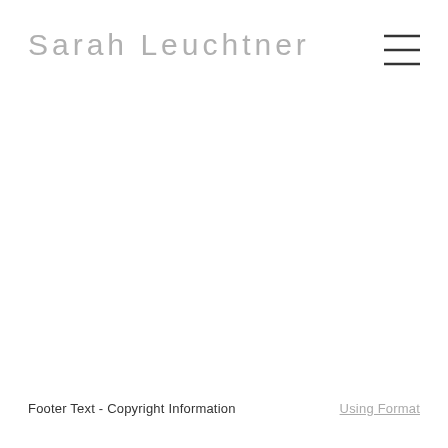Sarah Leuchtner
[Figure (other): Hamburger menu icon: three horizontal parallel lines stacked vertically]
Footer Text - Copyright Information
Using Format